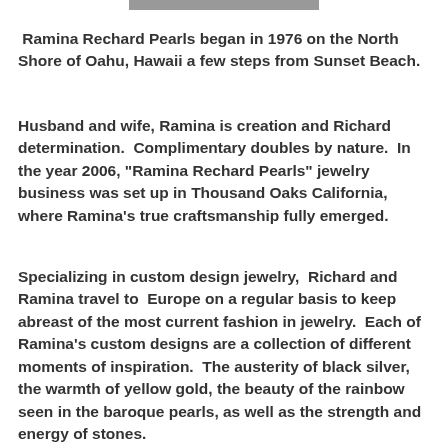[Figure (photo): Partial image visible at top of page, cropped]
Ramina Rechard Pearls began in 1976 on the North Shore of Oahu, Hawaii a few steps from Sunset Beach.
Husband and wife, Ramina is creation and Richard determination.  Complimentary doubles by nature.  In the year 2006, "Ramina Rechard Pearls" jewelry business was set up in Thousand Oaks California, where Ramina's true craftsmanship fully emerged.
Specializing in custom design jewelry,  Richard and Ramina travel to  Europe on a regular basis to keep abreast of the most current fashion in jewelry.  Each of Ramina's custom designs are a collection of different moments of inspiration.  The austerity of black silver, the warmth of yellow gold, the beauty of the rainbow seen in the baroque pearls, as well as the strength and energy of stones.